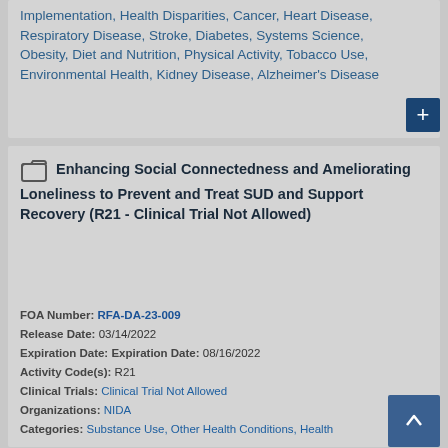Implementation, Health Disparities, Cancer, Heart Disease, Respiratory Disease, Stroke, Diabetes, Systems Science, Obesity, Diet and Nutrition, Physical Activity, Tobacco Use, Environmental Health, Kidney Disease, Alzheimer's Disease
Enhancing Social Connectedness and Ameliorating Loneliness to Prevent and Treat SUD and Support Recovery (R21 - Clinical Trial Not Allowed)
FOA Number: RFA-DA-23-009 Release Date: 03/14/2022 Expiration Date: Expiration Date: 08/16/2022 Activity Code(s): R21 Clinical Trials: Clinical Trial Not Allowed Organizations: NIDA Categories: Substance Use, Other Health Conditions, Health